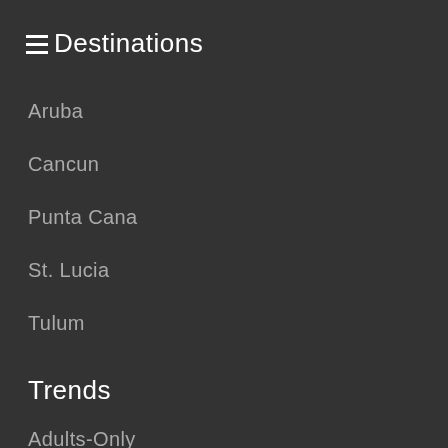Destinations
Aruba
Cancun
Punta Cana
St. Lucia
Tulum
Trends
Adults-Only
Luxury
Private Pools